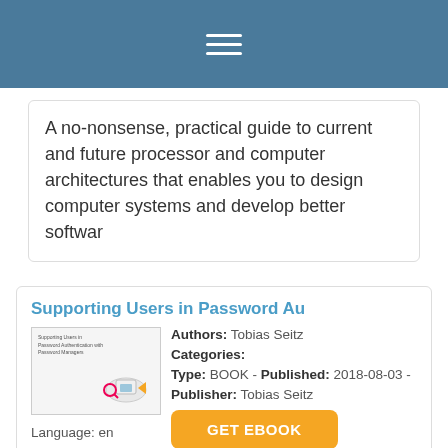A no-nonsense, practical guide to current and future processor and computer architectures that enables you to design computer systems and develop better softwar
Supporting Users in Password Au
Authors: Tobias Seitz
Categories:
Type: BOOK - Published: 2018-08-03 -
Publisher: Tobias Seitz
Language: en
Pages: 318
Activities like text-editing, watching movies, or managing personal finances are all accomplished with web-based solutions nowadays. The providers